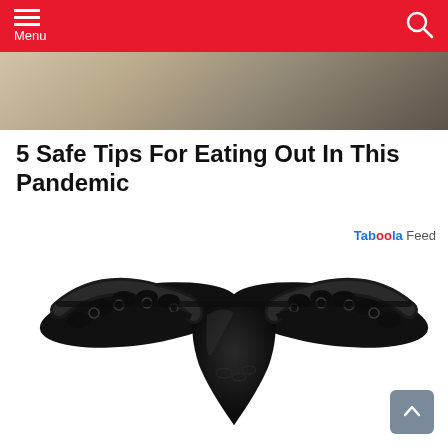Menu
[Figure (photo): Hero image of a restaurant or kitchen interior, blurred/partial view at the top of the page]
5 Safe Tips For Eating Out In This Pandemic
Taboola Feed
[Figure (photo): Black lace thong underwear photographed on a white background]